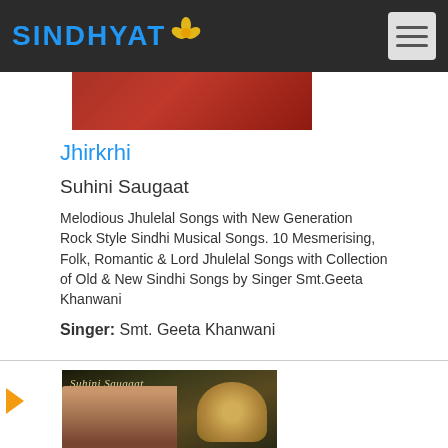SINDHYAT
[Figure (photo): Partial album cover image visible at top, cropped red/dark image]
Jhirkrhi
Suhini Saugaat
Melodious Jhulelal Songs with New Generation Rock Style Sindhi Musical Songs. 10 Mesmerising, Folk, Romantic & Lord Jhulelal Songs with Collection of Old & New Sindhi Songs by Singer Smt.Geeta Khanwani
Singer: Smt. Geeta Khanwani
[Figure (photo): Album cover for Suhini Saugaat showing a smiling woman and a deity figure with golden background, text reads Suhini Saugaat]